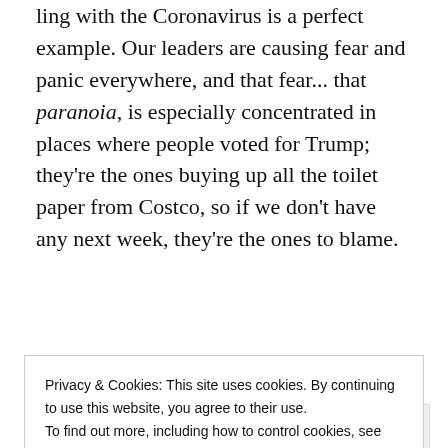ling with the Coronavirus is a perfect example. Our leaders are causing fear and panic everywhere, and that fear... that paranoia, is especially concentrated in places where people voted for Trump; they're the ones buying up all the toilet paper from Costco, so if we don't have any next week, they're the ones to blame.
[Figure (screenshot): Advertisement box with P2 logo and text 'Getting your team on the same page is easy. And free.']
Privacy & Cookies: This site uses cookies. By continuing to use this website, you agree to their use.
To find out more, including how to control cookies, see here: Cookie Policy
Close and accept
look like a hero because he signed an 8.3 billion dollar